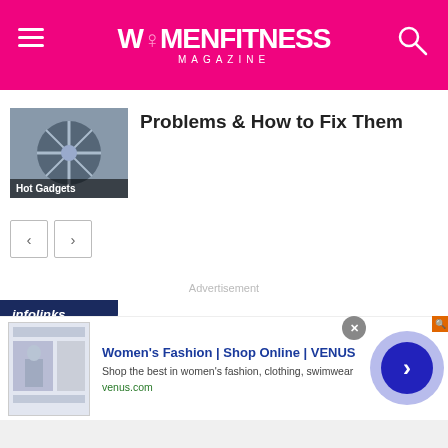WOMENFITNESS MAGAZINE
[Figure (photo): Thumbnail image labeled 'Hot Gadgets']
Problems & How to Fix Them
Advertisement
[Figure (screenshot): Infolinks advertisement banner for Women's Fashion | Shop Online | VENUS. Shop the best in women's fashion, clothing, swimwear. venus.com]